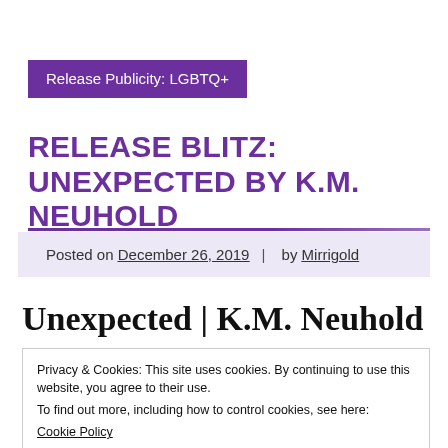Release Publicity: LGBTQ+
RELEASE BLITZ: UNEXPECTED BY K.M. NEUHOLD
Posted on December 26, 2019 | by Mirrigold
Unexpected | K.M. Neuhold
Privacy & Cookies: This site uses cookies. By continuing to use this website, you agree to their use.
To find out more, including how to control cookies, see here:
Cookie Policy
Close and accept
Release Blitz for